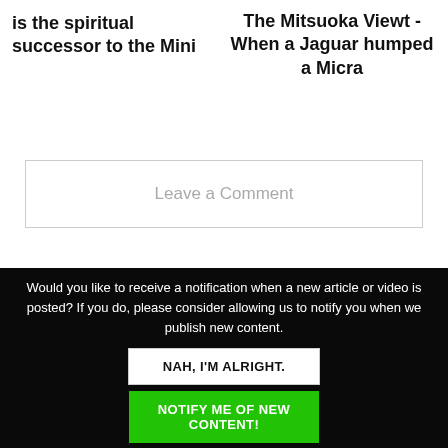is the spiritual successor to the Mini
The Mitsuoka Viewt - When a Jaguar humped a Micra
Leave a Comment
Would you like to receive a notification when a new article or video is posted? If you do, please consider allowing us to notify you when we publish new content.
NAH, I'M ALRIGHT.
NOTIFY ME OF NEW CONTENT!